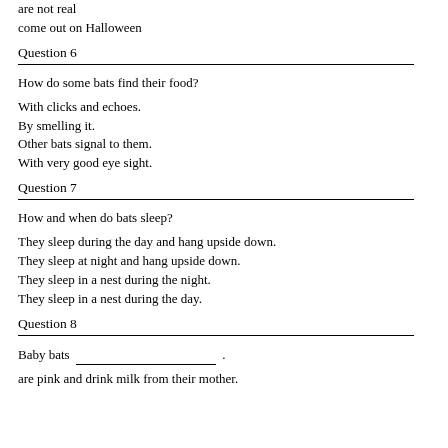are not real
come out on Halloween
Question 6
How do some bats find their food?
With clicks and echoes.
By smelling it.
Other bats signal to them.
With very good eye sight.
Question 7
How and when do bats sleep?
They sleep during the day and hang upside down.
They sleep at night and hang upside down.
They sleep in a nest during the night.
They sleep in a nest during the day.
Question 8
Baby bats _________________________ .
are pink and drink milk from their mother.